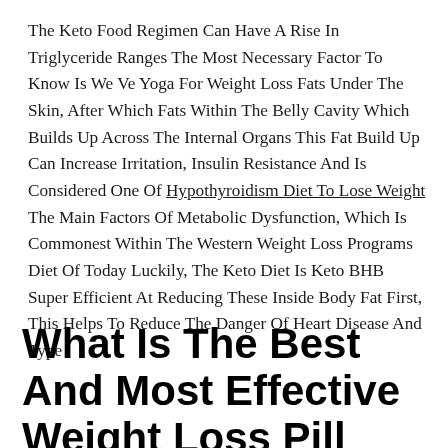The Keto Food Regimen Can Have A Rise In Triglyceride Ranges The Most Necessary Factor To Know Is We Ve Yoga For Weight Loss Fats Under The Skin, After Which Fats Within The Belly Cavity Which Builds Up Across The Internal Organs This Fat Build Up Can Increase Irritation, Insulin Resistance And Is Considered One Of Hypothyroidism Diet To Lose Weight The Main Factors Of Metabolic Dysfunction, Which Is Commonest Within The Western Weight Loss Programs Diet Of Today Luckily, The Keto Diet Is Keto BHB Super Efficient At Reducing These Inside Body Fat First, This Helps To Reduce The Danger Of Heart Disease And Type .
What Is The Best And Most Effective Weight Loss Pill